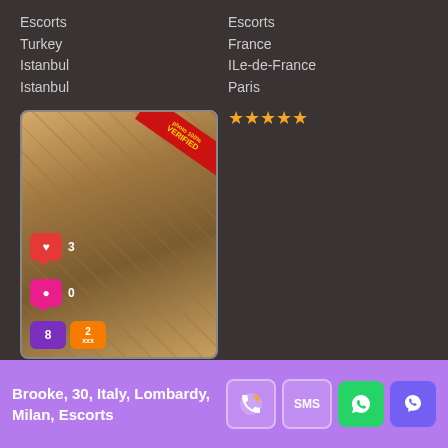Escorts
Turkey
Istanbul
Istanbul
★★★★★
Escorts
France
ILe-de-France
Paris
★★★★★
[Figure (photo): Photo of person on wooden floor with 'photo 100% VERIFIED' ribbon overlay and social interaction badges showing heart:3, comment:0, views:8, media:2]
Brooke, 30, Italy, Lombardy, Milan, Escorts